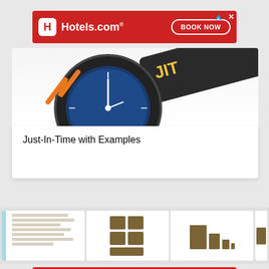[Figure (screenshot): Hotels.com advertisement banner with red background, Hotels.com logo on left, BOOK NOW button on right, ad choice icon top right]
[Figure (illustration): Just-In-Time themed illustration with a clock/stopwatch and a black sign reading 'JIT' or similar text in yellow]
Just-In-Time with Examples
[Figure (screenshot): Three thumbnail preview cards showing document/article layouts with text and block elements in tan/brown colors]
[Figure (screenshot): Hotels.com advertisement banner (bottom) with red background, Hotels.com logo on left, BOOK NOW button on right]